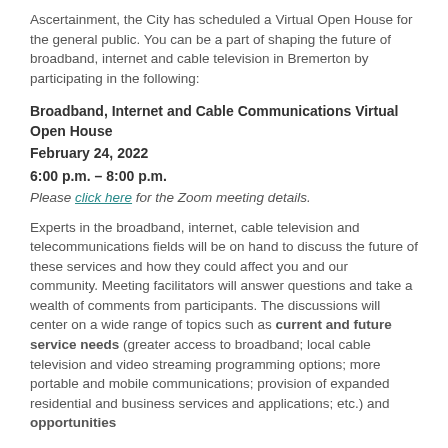Ascertainment, the City has scheduled a Virtual Open House for the general public. You can be a part of shaping the future of broadband, internet and cable television in Bremerton by participating in the following:
Broadband, Internet and Cable Communications Virtual Open House
February 24, 2022
6:00 p.m. – 8:00 p.m.
Please click here for the Zoom meeting details.
Experts in the broadband, internet, cable television and telecommunications fields will be on hand to discuss the future of these services and how they could affect you and our community. Meeting facilitators will answer questions and take a wealth of comments from participants. The discussions will center on a wide range of topics such as current and future service needs (greater access to broadband; local cable television and video streaming programming options; more portable and mobile communications; provision of expanded residential and business services and applications; etc.) and opportunities